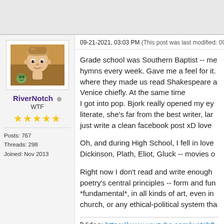09-21-2021, 03:03 PM (This post was last modified: 09...
[Figure (photo): Forum user avatar showing an animated character (boy with hat and a small creature)]
RiverNotch
WTF
★★★★★
Posts: 767
Threads: 298
Joined: Nov 2013
Grade school was Southern Baptist -- me hymns every week. Gave me a feel for it. where they made us read Shakespeare a Venice chiefly. At the same time
I got into pop. Bjork really opened my ey literate, she's far from the best writer, lar just write a clean facebook post xD love
Oh, and during High School, I fell in love Dickinson, Plath, Eliot, Gluck -- movies o
Right now I don't read and write enough poetry's central principles -- form and fun *fundamental*, in all kinds of art, even in church, or any ethical-political system tha
[Video: https://www.youtube.com/watch?v=9...